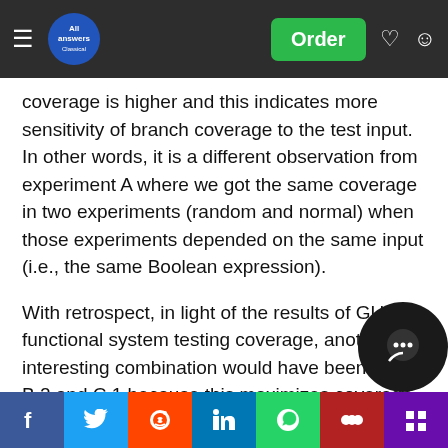All Answers | Order
coverage is higher and this indicates more sensitivity of branch coverage to the test input. In other words, it is a different observation from experiment A where we got the same coverage in two experiments (random and normal) when those experiments depended on the same input (i.e., the same Boolean expression).
With retrospect, in light of the results of GUI functional system testing coverage, another interesting combination would have been A.6, B.2 and C.1 because this maximizes coverage for each functionality separately. We did not a posteriori consider this combination because we did not expect drastically different (improved) coverage results.
For experiment E (TABLE III), we notice that the control classes got the highest coverage value of all the classes in the SUT. T s t t t s are: Besides the control classes, the rest of the software in